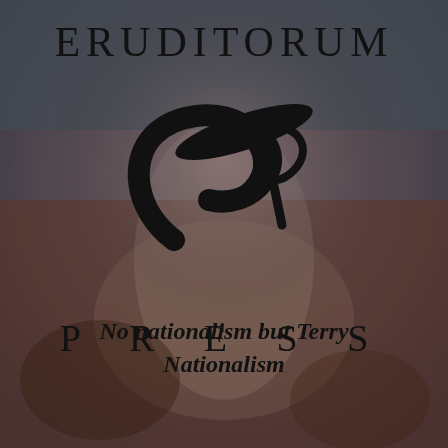[Figure (logo): Eruditorum Press logo page with background showing a muted reddish-brown classical painting (figure in white dress), overlaid with 'ERUDITORUM' text at top, a stylized 'EP' calligraphic monogram logo in the center, 'PRESS' text below, and italic tagline at bottom.]
ERUDITORUM
P R E S S
No nationalism but Terry Nationalism